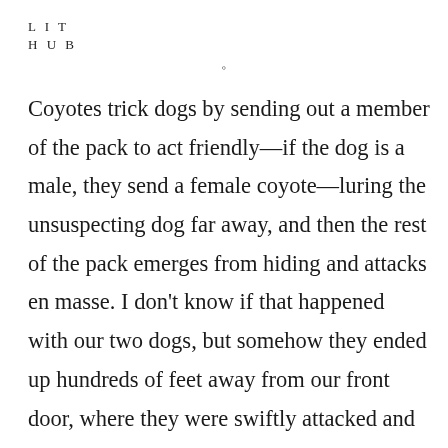L I T
H U B
Coyotes trick dogs by sending out a member of the pack to act friendly—if the dog is a male, they send a female coyote—luring the unsuspecting dog far away, and then the rest of the pack emerges from hiding and attacks en masse. I don't know if that happened with our two dogs, but somehow they ended up hundreds of feet away from our front door, where they were swiftly attacked and killed. It left my children in tears, and me with a burning sensation of guilt and anger, as if I'd swallowed a coal ember, and it were smoldering in my